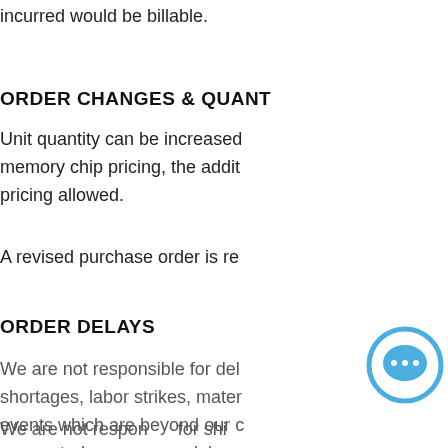incurred would be billable.
ORDER CHANGES & QUANT
Unit quantity can be increased memory chip pricing, the addit pricing allowed.
A revised purchase order is re
ORDER DELAYS
We are not responsible for del shortages, labor strikes, mater events which are beyond our c our control may ca delays
We are not respon for shi delayed by customs, claims m